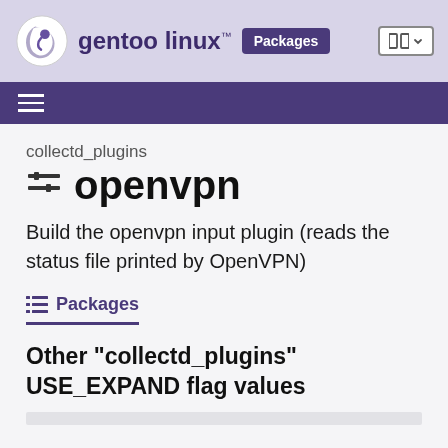gentoo linux™ Packages
collectd_plugins openvpn
Build the openvpn input plugin (reads the status file printed by OpenVPN)
Packages
Other "collectd_plugins" USE_EXPAND flag values